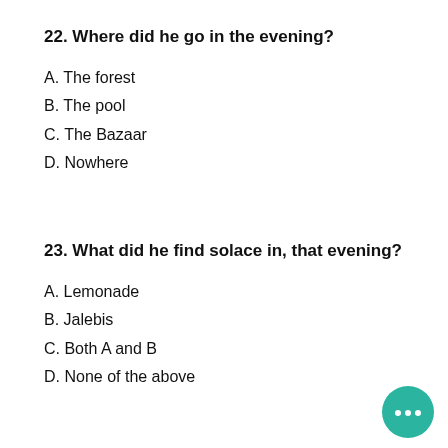22. Where did he go in the evening?
A. The forest
B. The pool
C. The Bazaar
D. Nowhere
23. What did he find solace in, that evening?
A. Lemonade
B. Jalebis
C. Both A and B
D. None of the above